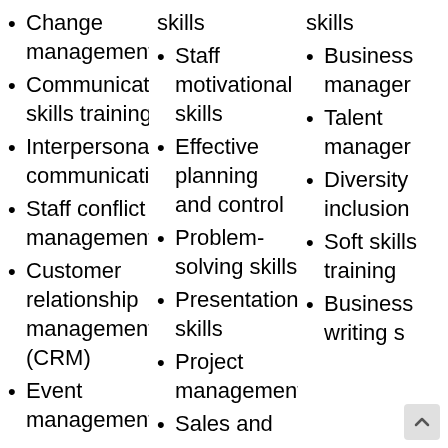Change management
Communication skills training
Interpersonal communication
Staff conflict management
Customer relationship management (CRM)
Event management
skills
Staff motivational skills
Effective planning and control
Problem-solving skills
Presentation skills
Project management
Sales and
skills
Business management
Talent management
Diversity inclusion
Soft skills training
Business writing s